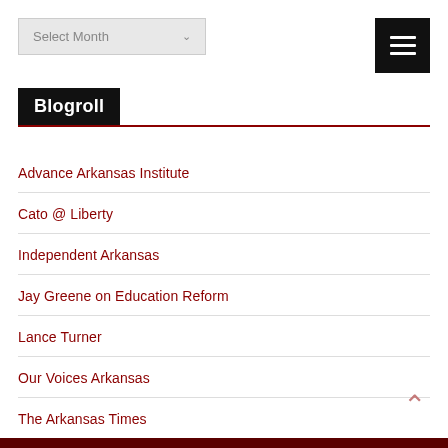[Figure (screenshot): A dropdown select box labeled 'Select Month' with a chevron arrow on the right, styled with light gray background]
[Figure (screenshot): A black hamburger menu button with three white horizontal lines]
Blogroll
Advance Arkansas Institute
Cato @ Liberty
Independent Arkansas
Jay Greene on Education Reform
Lance Turner
Our Voices Arkansas
The Arkansas Times
The City Wire, Fort Smith